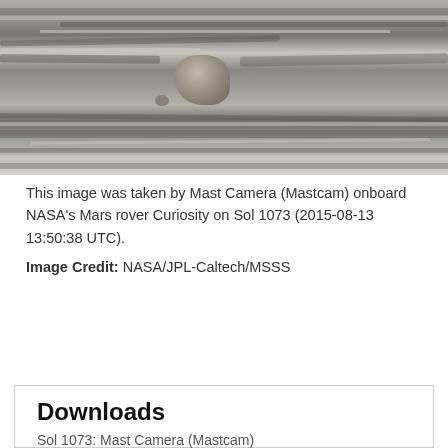[Figure (photo): Black and white photograph of layered Martian rock formations taken by NASA's Curiosity rover Mastcam on Sol 1073. A rounded rock sits atop flat stratified layers in the foreground.]
This image was taken by Mast Camera (Mastcam) onboard NASA's Mars rover Curiosity on Sol 1073 (2015-08-13 13:50:38 UTC).
Image Credit: NASA/JPL-Caltech/MSSS
ENLARGE
Downloads
Sol 1073: Mast Camera (Mastcam)